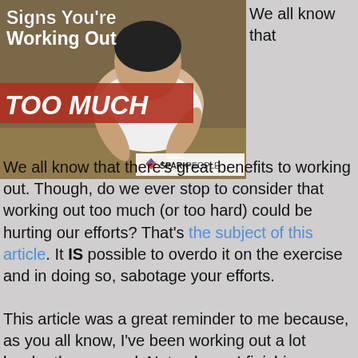[Figure (photo): Woman doing a push-up or plank exercise, with text overlay: 'Signs You're Working Out TOO MUCH' and SparkPeople logo]
We all know that there's great benefits to working out. Though, do we ever stop to consider that working out too much (or too hard) could be hurting our efforts? That's the subject of this article. It IS possible to overdo it on the exercise and in doing so, sabotage your efforts.
This article was a great reminder to me because, as you all know, I've been working out a lot harder than normal. Not only am I finishing up Focus T25 Gamma, but I've been doing a lot of work on my new house. I still have a lot of painting to do; plus there will be all that work of moving things into the house as well. Needless to say, I'm REALLY tired and sore!
I'm pushing forward with everything that I have to do, but I have already decided that once I finish this last week of Gamma, I'm going to take a break from doing any other